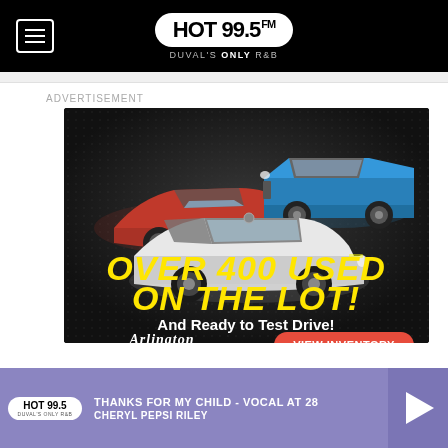HOT 99.5 FM — DUVAL'S ONLY R&B
ADVERTISEMENT
[Figure (photo): Car dealership advertisement for Arlington Toyota showing three vehicles (red sedan, blue truck, white SUV) with text: OVER 400 USED ON THE LOT! And Ready to Test Drive! VIEW INVENTORY button.]
THANKS FOR MY CHILD - VOCAL AT 28
CHERYL PEPSI RILEY